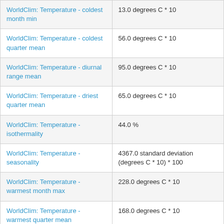| WorldClim: Temperature - coldest month min | 13.0 degrees C * 10 |
| WorldClim: Temperature - coldest quarter mean | 56.0 degrees C * 10 |
| WorldClim: Temperature - diurnal range mean | 95.0 degrees C * 10 |
| WorldClim: Temperature - driest quarter mean | 65.0 degrees C * 10 |
| WorldClim: Temperature - isothermality | 44.0 % |
| WorldClim: Temperature - seasonality | 4367.0 standard deviation (degrees C * 10) * 100 |
| WorldClim: Temperature - warmest month max | 228.0 degrees C * 10 |
| WorldClim: Temperature - warmest quarter mean | 168.0 degrees C * 10 |
| WorldClim: Temperature - wettest quarter mean | 165.0 degrees C * 10 |